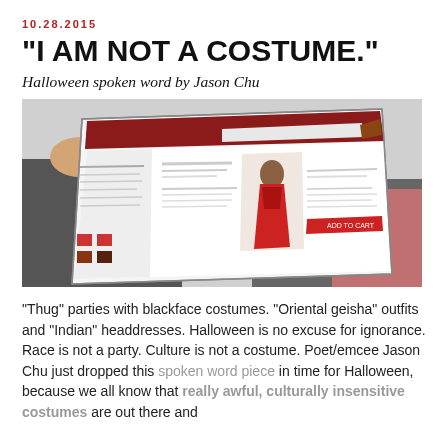10.28.2015
"I AM NOT A COSTUME."
Halloween spoken word by Jason Chu
[Figure (photo): A person holding up a tablet or monitor showing a website with a costume product listing, featuring a woman in a red and black outfit. The person's hands and jacket sleeve are visible against a light background.]
"Thug" parties with blackface costumes. "Oriental geisha" outfits and "Indian" headdresses. Halloween is no excuse for ignorance. Race is not a party. Culture is not a costume. Poet/emcee Jason Chu just dropped this spoken word piece in time for Halloween, because we all know that really awful, culturally insensitive costumes are out there and